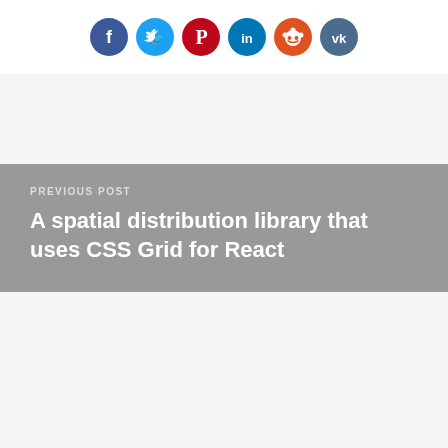[Figure (other): Row of 6 social media share buttons as colored circles: Facebook (dark blue), Twitter (light blue), Pinterest (dark red/crimson), LinkedIn (teal), Reddit (orange-red), VK (dark blue-grey)]
PREVIOUS POST
A spatial distribution library that uses CSS Grid for React